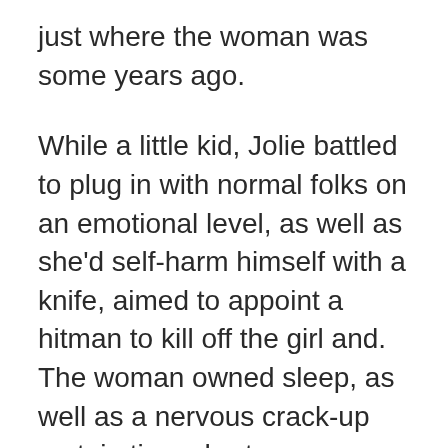just where the woman was some years ago.
While a little kid, Jolie battled to plug in with normal folks on an emotional level, as well as she'd self-harm himself with a knife, aimed to appoint a hitman to kill off the girl and. The woman owned sleep, as well as a nervous crack-up certain times hurt unhappiness, to be able to make self-destruction, as well as various other many more complications.
At age 14, Jolie employed to settle for